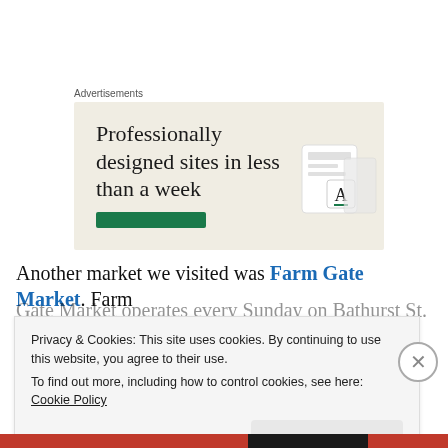Advertisements
[Figure (illustration): Advertisement banner with beige background showing text 'Professionally designed sites in less than a week' with a green button and device mockup images on the right]
Another market we visited was Farm Gate Market. Farm Gate Market operates every Sunday on Bathurst St. from
Privacy & Cookies: This site uses cookies. By continuing to use this website, you agree to their use.
To find out more, including how to control cookies, see here: Cookie Policy
Close and accept